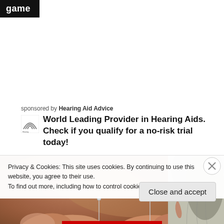game
sponsored by Hearing Aid Advice
World Leading Provider in Hearing Aids. Check if you qualify for a no-risk trial today!
[Figure (photo): Two fingers holding tiny hearing aid pins against a blurred warm background; and a partial image of a person's ear with grey hair]
Privacy & Cookies: This site uses cookies. By continuing to use this website, you agree to their use.
To find out more, including how to control cookies, see here: Cookie Policy
Close and accept